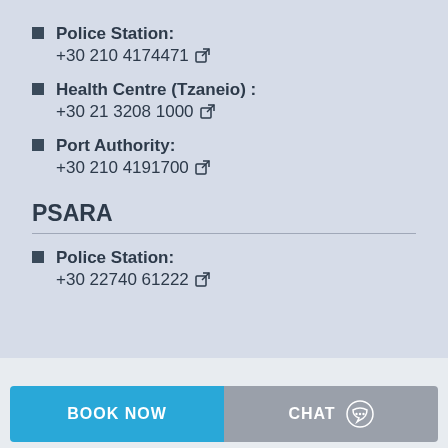Police Station:
+30 210 4174471
Health Centre (Tzaneio) :
+30 21 3208 1000
Port Authority:
+30 210 4191700
PSARA
Police Station:
+30 22740 61222